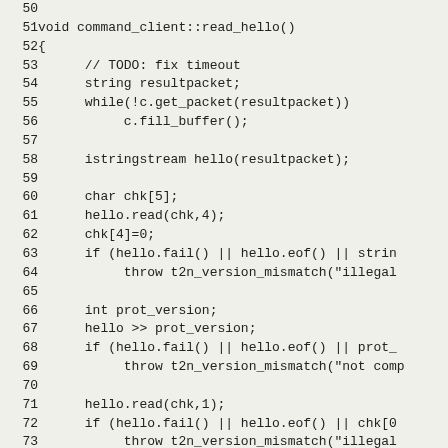[Figure (screenshot): Source code listing of C++ function command_client::read_hello(), lines 50-82, shown in monospace font on a light gray background. The code reads a packet, checks version information, and throws t2n_version_mismatch exceptions on errors.]